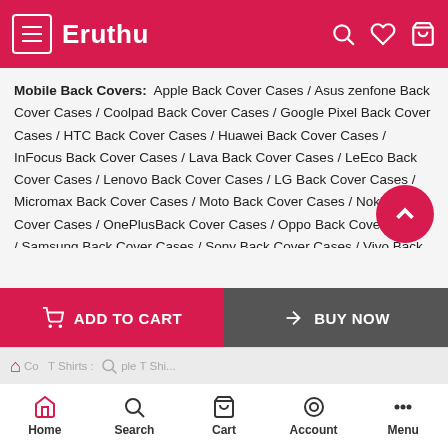Eruthu
Mobile Back Covers: Apple Back Cover Cases / Asus zenfone Back Cover Cases / Coolpad Back Cover Cases / Google Pixel Back Cover Cases / HTC Back Cover Cases / Huawei Back Cover Cases / InFocus Back Cover Cases / Lava Back Cover Cases / LeEco Back Cover Cases / Lenovo Back Cover Cases / LG Back Cover Cases / Micromax Back Cover Cases / Moto Back Cover Cases / Nokia Back Cover Cases / OnePlusBack Cover Cases / Oppo Back Cover Cases / Samsung Back Cover Cases / Sony Back Cover Cases / Vivo Back Cover Cases / Xiaomi Back Cover Cases
Men T Shirts : Round Neck T Shirts / Full Sleeves T Shirts / Half Sleeve T Shirts / Birthday T Shirts / Plain T Shirts / V Neck T Shirts
Home  Search  Cart  Account  Menu